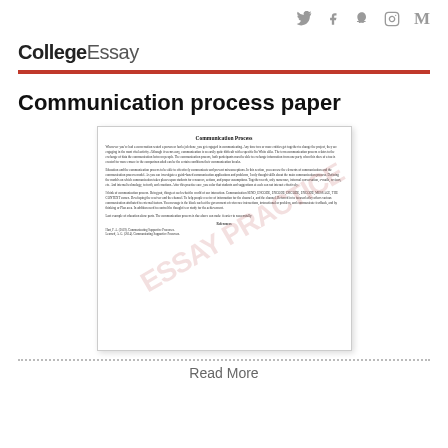Social icons: Twitter, Facebook, Snapchat, Instagram, Medium
CollegeEssay
Communication process paper
[Figure (illustration): Preview of a document page titled 'Communication Process' with body text in small serif font, a diagonal watermark reading 'ESSAY PRACTICE', and a References section at the bottom.]
Read More